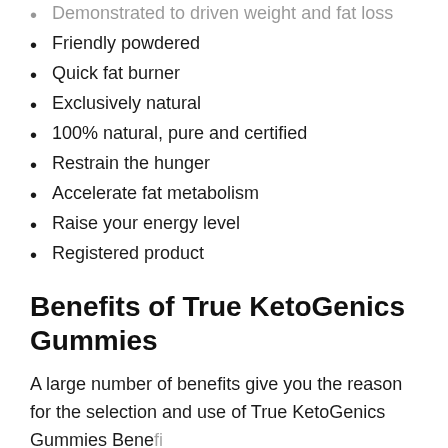Demonstrated to driven weight and fat loss
Friendly powdered
Quick fat burner
Exclusively natural
100% natural, pure and certified
Restrain the hunger
Accelerate fat metabolism
Raise your energy level
Registered product
Benefits of True KetoGenics Gummies
A large number of benefits give you the reason for the selection and use of True KetoGenics Gummies Bene...